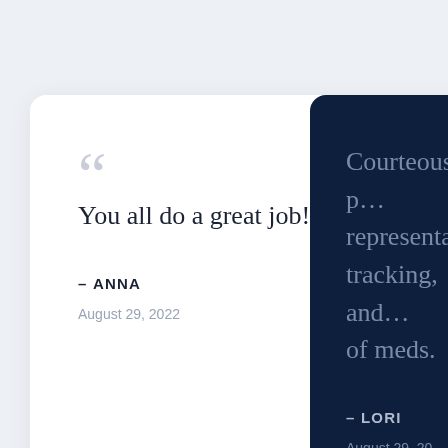You all do a great job! Thanks so much!
– ANNA
August 29, 2022
Courteous p… representative… tracking, and… of meds.
– LORI
August 29, 20…